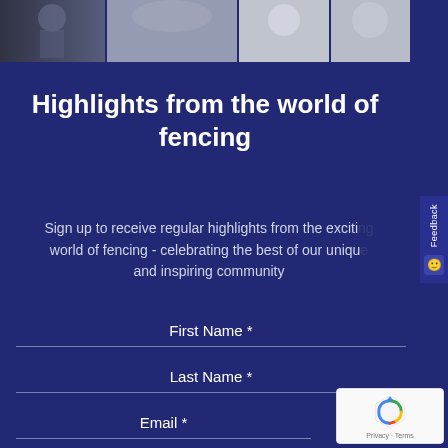[Figure (photo): A horizontal photo strip at the top showing fencing athletes in action and portraits, partially cropped]
Highlights from the world of fencing
Sign up to receive regular highlights from the exciting world of fencing - celebrating the best of our unique and inspiring community
First Name *
Last Name *
Email *